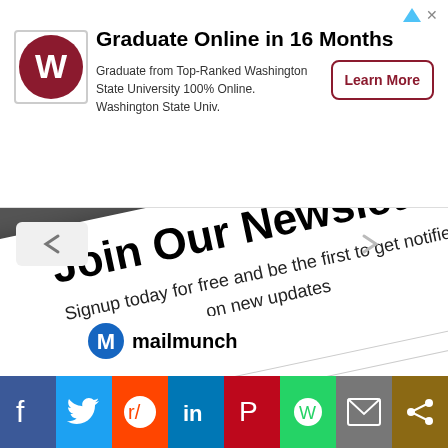[Figure (screenshot): Advertisement banner for Washington State University online graduate program]
Join Our Newsletter
Signup today for free and be the first to get notified on new updates
Enter email here
Subscribe
[Figure (logo): Mailmunch logo badge]
[Figure (screenshot): Social share bar with Facebook, Twitter, Reddit, LinkedIn, Pinterest, WhatsApp, Email, and Share icons]